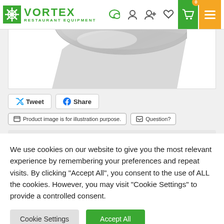VORTEX RESTAURANT EQUIPMENT
[Figure (photo): Product image of a stainless steel tray/pan, partially visible at top of page]
Tweet  Share
Product image is for illustration purpose.   Question?
We use cookies on our website to give you the most relevant experience by remembering your preferences and repeat visits. By clicking "Accept All", you consent to the use of ALL the cookies. However, you may visit "Cookie Settings" to provide a controlled consent.
Cookie Settings   Accept All